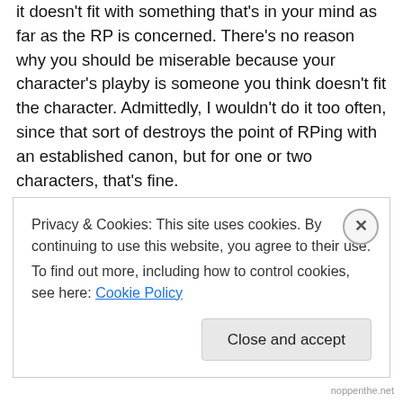it doesn't fit with something that's in your mind as far as the RP is concerned. There's no reason why you should be miserable because your character's playby is someone you think doesn't fit the character. Admittedly, I wouldn't do it too often, since that sort of destroys the point of RPing with an established canon, but for one or two characters, that's fine.
In the forum where I RP, there is a particular section that I haven't yet had the courage to go trolling through, but it sort of functions like each character in it is going through Hogwarts (or wherever else they are) at that time.
Privacy & Cookies: This site uses cookies. By continuing to use this website, you agree to their use.
To find out more, including how to control cookies, see here: Cookie Policy
Close and accept